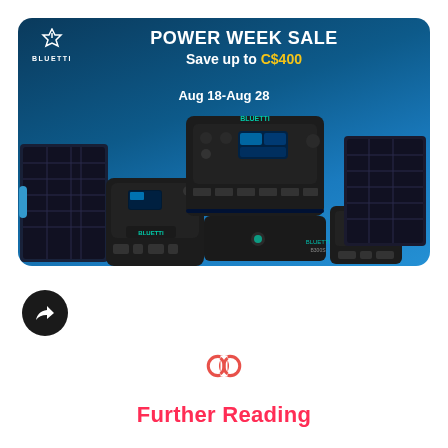[Figure (photo): BLUETTI Power Week Sale advertisement banner showing portable power stations and solar panels on a dark blue gradient background. Text reads 'POWER WEEK SALE Save up to C$400 Aug 18-Aug 28'. BLUETTI logo in top-left corner.]
[Figure (other): Dark circular share/export button icon]
[Figure (other): Interlinked circles icon representing further reading links]
Further Reading